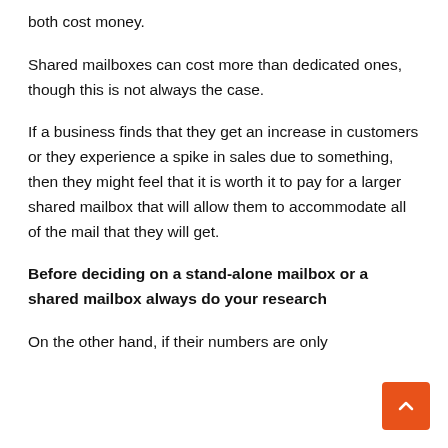both cost money.
Shared mailboxes can cost more than dedicated ones, though this is not always the case.
If a business finds that they get an increase in customers or they experience a spike in sales due to something, then they might feel that it is worth it to pay for a larger shared mailbox that will allow them to accommodate all of the mail that they will get.
Before deciding on a stand-alone mailbox or a shared mailbox always do your research
On the other hand, if their numbers are only